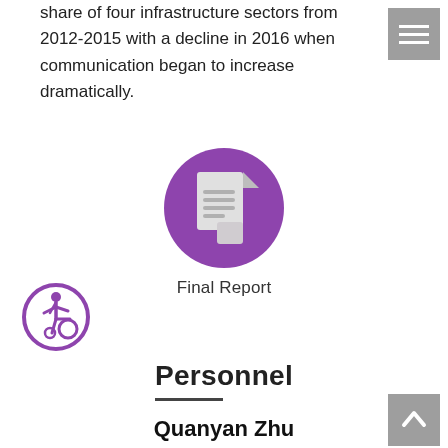share of four infrastructure sectors from 2012-2015 with a decline in 2016 when communication began to increase dramatically.
[Figure (illustration): Purple circle icon with a document/report symbol (folded paper with lines) in the center]
Final Report
[Figure (illustration): Purple circle icon with a wheelchair accessibility symbol]
Personnel
Quanyan Zhu
[Figure (photo): Portrait photo of Quanyan Zhu]